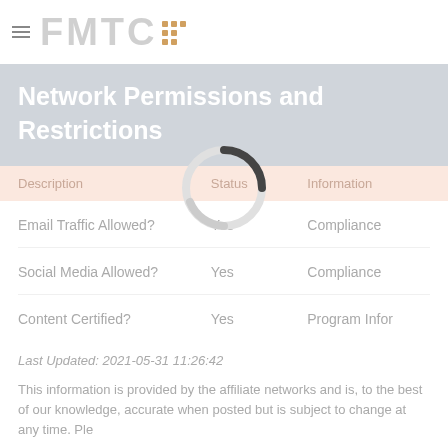FMTC
Network Permissions and Restrictions
| Description | Status | Information |
| --- | --- | --- |
| Email Traffic Allowed? | Yes | Compliance |
| Social Media Allowed? | Yes | Compliance |
| Content Certified? | Yes | Program Infor |
Last Updated: 2021-05-31 11:26:42
This information is provided by the affiliate networks and is, to the best of our knowledge, accurate when posted but is subject to change at any time. Ple...